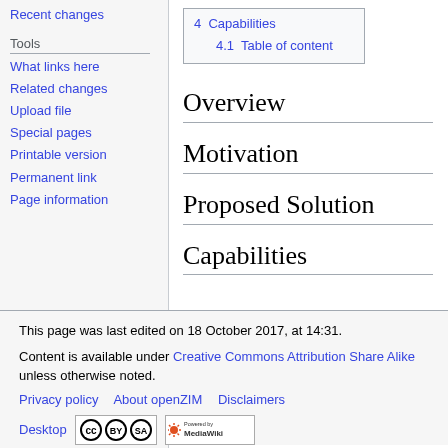Recent changes
Tools
What links here
Related changes
Upload file
Special pages
Printable version
Permanent link
Page information
| 4  Capabilities |
| 4.1  Table of content |
Overview
Motivation
Proposed Solution
Capabilities
This page was last edited on 18 October 2017, at 14:31.
Content is available under Creative Commons Attribution Share Alike unless otherwise noted.
Privacy policy   About openZIM   Disclaimers
Desktop